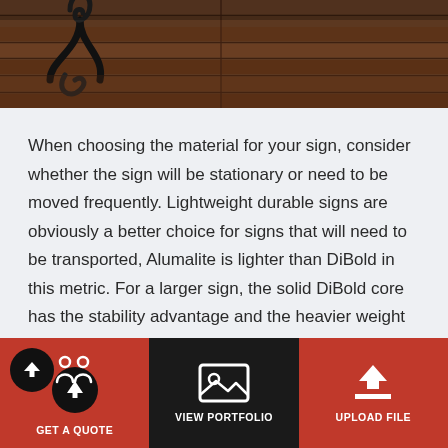[Figure (photo): Top portion of photo showing wrought iron decorative bracket against wooden siding or paneling, brown tones, cropped at bottom]
When choosing the material for your sign, consider whether the sign will be stationary or need to be moved frequently. Lightweight durable signs are obviously a better choice for signs that will need to be transported, Alumalite is lighter than DiBold in this metric. For a larger sign, the solid DiBold core has the stability advantage and the heavier weight means it will not be blown loose in high wind scenarios.
GET A QUOTE   VIEW PORTFOLIO   UPLOAD FILE